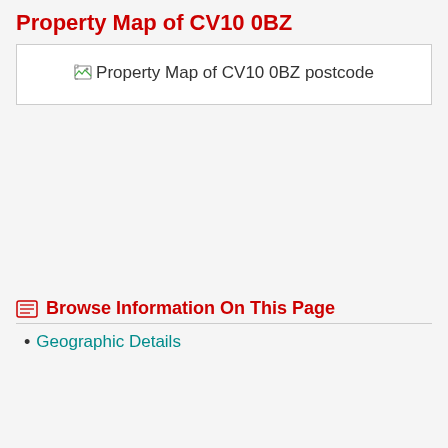Property Map of CV10 0BZ
[Figure (map): Property Map of CV10 0BZ postcode - broken image placeholder shown]
Browse Information On This Page
Geographic Details